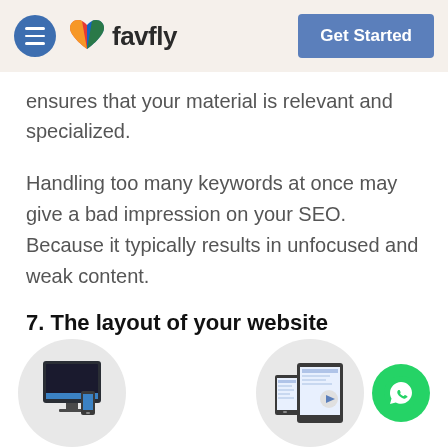favfly — Get Started
ensures that your material is relevant and specialized.
Handling too many keywords at once may give a bad impression on your SEO. Because it typically results in unfocused and weak content.
7. The layout of your website
When people want to know, do, go, or buy, they turn to their smartphones.
[Figure (illustration): Two illustration circles: left shows a desktop monitor with a small smartphone in front on a grey circle background; right shows a smartphone and tablet on a grey circle background. A green WhatsApp button floats bottom-right.]